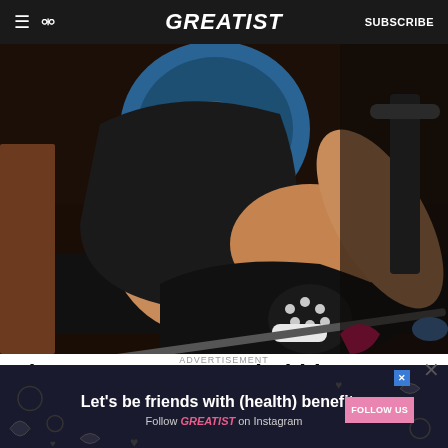GREATIST  SUBSCRIBE
[Figure (photo): Muscular person in black tank top and black shorts using a leg press machine in a gym, wearing black skull-print fingerless gloves, with weight plates visible in background]
Thrust your way to a bubble butt
ADVERTISEMENT
[Figure (infographic): Advertisement banner: Let's be friends with (health) benefits. Follow GREATIST on Instagram. Pink FOLLOW US button on right. Dark background with decorative hearts and doodles.]